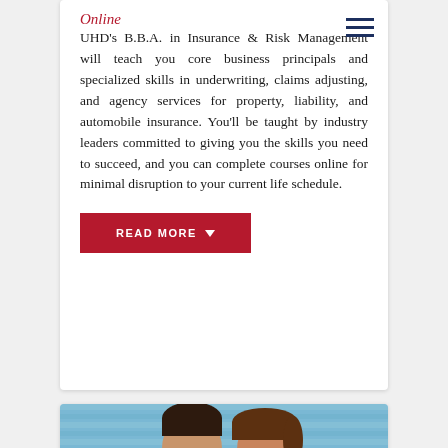Online
UHD’s B.B.A. in Insurance & Risk Management will teach you core business principals and specialized skills in underwriting, claims adjusting, and agency services for property, liability, and automobile insurance. You’ll be taught by industry leaders committed to giving you the skills you need to succeed, and you can complete courses online for minimal disruption to your current life schedule.
[Figure (other): READ MORE button with red background and white bold text, with a downward pointing triangle arrow]
[Figure (photo): Photo of two people (a man and a woman) against a blue striped background, cropped to show their heads and upper shoulders]